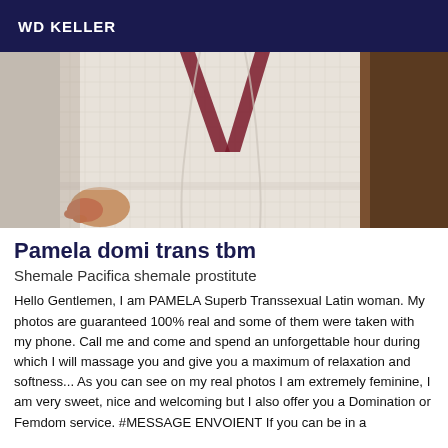WD KELLER
[Figure (photo): Close-up photo of a person wearing a white waffle-texture robe with dark red/maroon trim, torso and hands visible]
Pamela domi trans tbm
Shemale Pacifica shemale prostitute
Hello Gentlemen, I am PAMELA Superb Transsexual Latin woman. My photos are guaranteed 100% real and some of them were taken with my phone. Call me and come and spend an unforgettable hour during which I will massage you and give you a maximum of relaxation and softness... As you can see on my real photos I am extremely feminine, I am very sweet, nice and welcoming but I also offer you a Domination or Femdom service. #MESSAGE ENVOIENT If you can be in a